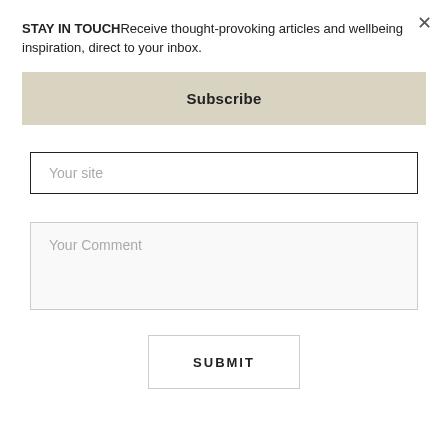STAY IN TOUCHReceive thought-provoking articles and wellbeing inspiration, direct to your inbox.
Subscribe
Your site
Your Comment
SUBMIT